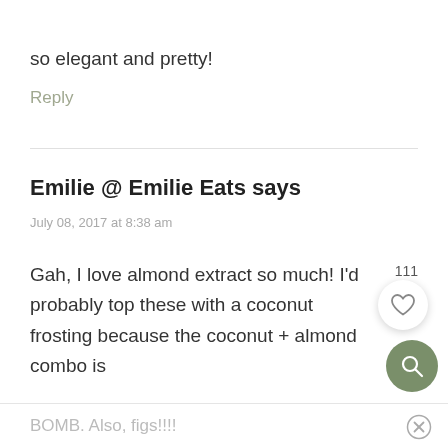so elegant and pretty!
Reply
Emilie @ Emilie Eats says
July 08, 2017 at 8:38 am
Gah, I love almond extract so much! I'd probably top these with a coconut frosting because the coconut + almond combo is
BOMB. Also, figs!!!!